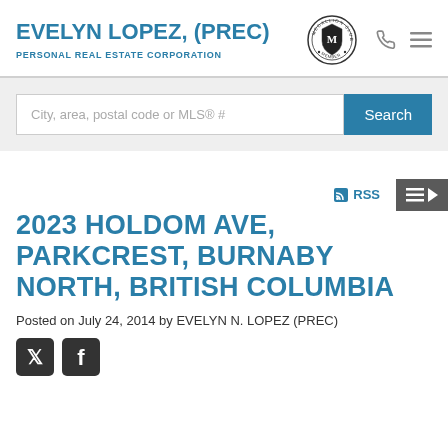EVELYN LOPEZ, (PREC) — PERSONAL REAL ESTATE CORPORATION
City, area, postal code or MLS® #
RSS
2023 HOLDOM AVE, PARKCREST, BURNABY NORTH, BRITISH COLUMBIA
Posted on July 24, 2014 by EVELYN N. LOPEZ (PREC)